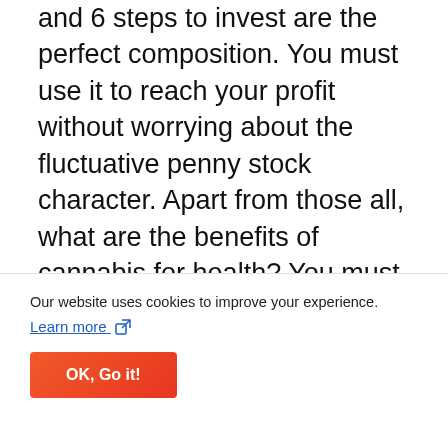and 6 steps to invest are the perfect composition. You must use it to reach your profit without worrying about the fluctuative penny stock character. Apart from those all, what are the benefits of cannabis for health? You must know that there are many benefits inside of marijuana when the usage is right. It is useful to heal Alzheimer, vomiting, multiple sclerosis, glaucoma, and anxiety. You can also use to treat arthritis, parkinsonism, cancer, lungs'health, and epilepsy. Okay, that is
Our website uses cookies to improve your experience.
Learn more
OK, Go it!